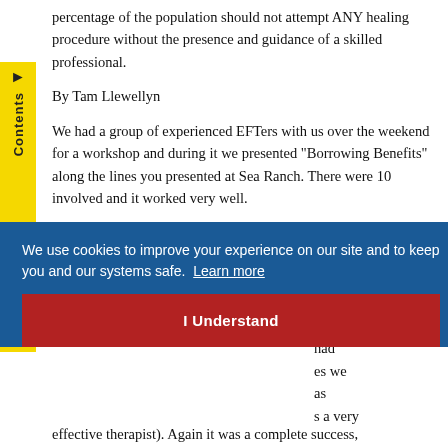percentage of the population should not attempt ANY healing procedure without the presence and guidance of a skilled professional.
By Tam Llewellyn
We had a group of experienced EFTers with us over the weekend for a workshop and during it we presented "Borrowing Benefits" along the lines you presented at Sea Ranch. There were 10 involved and it worked very well.
[Figure (screenshot): Cookie consent overlay on a blue background with text 'We use cookies to improve your experience on our site and to keep you and our systems safe. Learn more' and a red 'I Understand' button]
a 'live d all the ed from had es we as s a very effective therapist). Again it was a complete success,